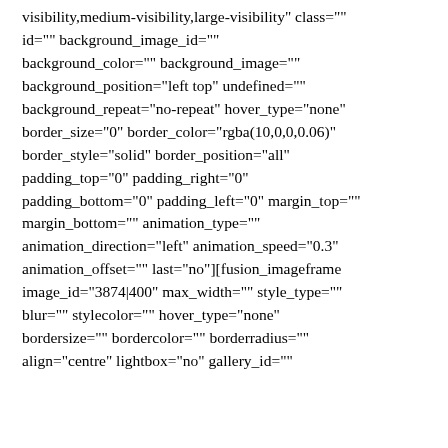visibility,medium-visibility,large-visibility" class="" id="" background_image_id="" background_color="" background_image="" background_position="left top" undefined="" background_repeat="no-repeat" hover_type="none" border_size="0" border_color="rgba(10,0,0,0.06)" border_style="solid" border_position="all" padding_top="0" padding_right="0" padding_bottom="0" padding_left="0" margin_top="" margin_bottom="" animation_type="" animation_direction="left" animation_speed="0.3" animation_offset="" last="no"][fusion_imageframe image_id="3874|400" max_width="" style_type="" blur="" stylecolor="" hover_type="none" bordersize="" bordercolor="" borderradius="" align="centre" lightbox="no" gallery_id=""